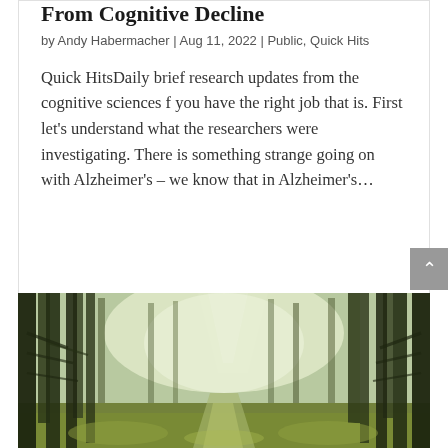From Cognitive Decline
by Andy Habermacher | Aug 11, 2022 | Public, Quick Hits
Quick HitsDaily brief research updates from the cognitive sciences f you have the right job that is. First let's understand what the researchers were investigating. There is something strange going on with Alzheimer's – we know that in Alzheimer's…
[Figure (photo): A misty forest path through tall green conifer trees with sunlight filtering through, green moss on the ground.]